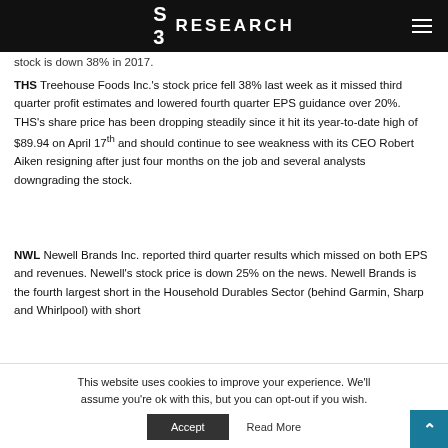S3 RESEARCH
stock is down 38% in 2017.
THS Treehouse Foods Inc.'s stock price fell 38% last week as it missed third quarter profit estimates and lowered fourth quarter EPS guidance over 20%. THS's share price has been dropping steadily since it hit its year-to-date high of $89.94 on April 17th and should continue to see weakness with its CEO Robert Aiken resigning after just four months on the job and several analysts downgrading the stock.
NWL Newell Brands Inc. reported third quarter results which missed on both EPS and revenues. Newell's stock price is down 25% on the news. Newell Brands is the fourth largest short in the Household Durables Sector (behind Garmin, Sharp and Whirlpool) with short
This website uses cookies to improve your experience. We'll assume you're ok with this, but you can opt-out if you wish.